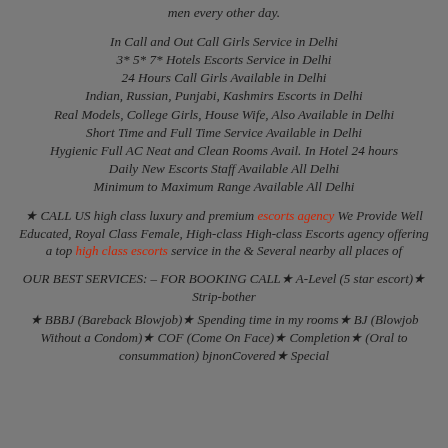men every other day.
In Call and Out Call Girls Service in Delhi
3* 5* 7* Hotels Escorts Service in Delhi
24 Hours Call Girls Available in Delhi
Indian, Russian, Punjabi, Kashmirs Escorts in Delhi
Real Models, College Girls, House Wife, Also Available in Delhi
Short Time and Full Time Service Available in Delhi
Hygienic Full AC Neat and Clean Rooms Avail. In Hotel 24 hours
Daily New Escorts Staff Available All Delhi
Minimum to Maximum Range Available All Delhi
★ CALL US high class luxury and premium escorts agency We Provide Well Educated, Royal Class Female, High-class High-class Escorts agency offering a top high class escorts service in the & Several nearby all places of
OUR BEST SERVICES: – FOR BOOKING CALL★ A-Level (5 star escort)★ Strip-bother
★ BBBJ (Bareback Blowjob)★ Spending time in my rooms★ BJ (Blowjob Without a Condom)★ COF (Come On Face)★ Completion★ (Oral to consummation) bjnonCovered★ Special